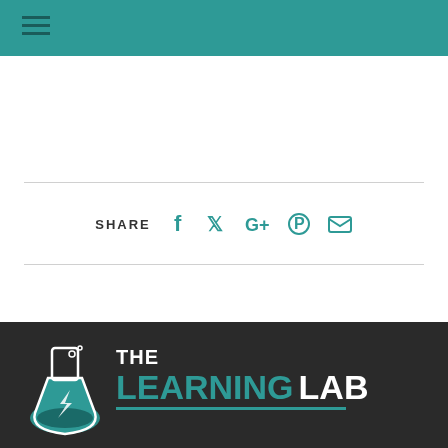Navigation bar with hamburger menu
[Figure (infographic): Share row with social media icons: Facebook, Twitter, Google+, Pinterest, Email. Label: SHARE]
[Figure (logo): The Learning Lab logo: flask icon with text THE LEARNING LAB on dark background, LEARNING in teal, LAB in white]